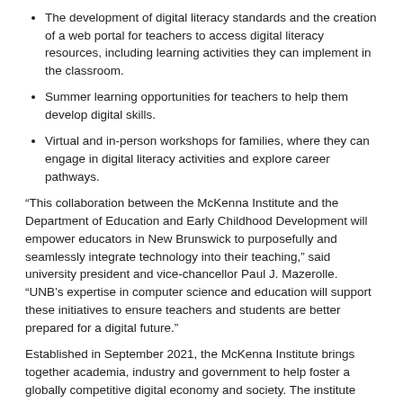The development of digital literacy standards and the creation of a web portal for teachers to access digital literacy resources, including learning activities they can implement in the classroom.
Summer learning opportunities for teachers to help them develop digital skills.
Virtual and in-person workshops for families, where they can engage in digital literacy activities and explore career pathways.
“This collaboration between the McKenna Institute and the Department of Education and Early Childhood Development will empower educators in New Brunswick to purposefully and seamlessly integrate technology into their teaching,” said university president and vice-chancellor Paul J. Mazerolle. “UNB’s expertise in computer science and education will support these initiatives to ensure teachers and students are better prepared for a digital future.”
Established in September 2021, the McKenna Institute brings together academia, industry and government to help foster a globally competitive digital economy and society. The institute aims to support homegrown, technology-based solutions and help New Brunswickers retrain for the digital marketplace.
21-06-22